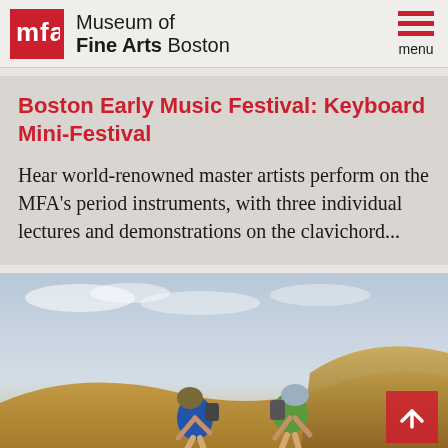Museum of Fine Arts Boston
Boston Early Music Festival: Keyboard Mini-Festival
Hear world-renowned master artists perform on the MFA's period instruments, with three individual lectures and demonstrations on the clavichord...
[Figure (photo): Two people wearing head coverings and backpacks hiking/crouching in a desert landscape with sandy hills and cloudy sky]